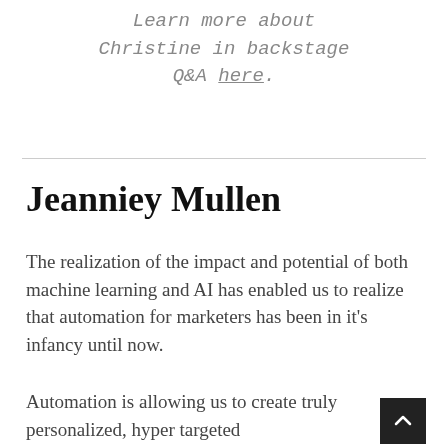Learn more about Christine in backstage Q&A here.
Jeanniey Mullen
The realization of the impact and potential of both machine learning and AI has enabled us to realize that automation for marketers has been in it's infancy until now.
Automation is allowing us to create truly personalized, hyper targeted